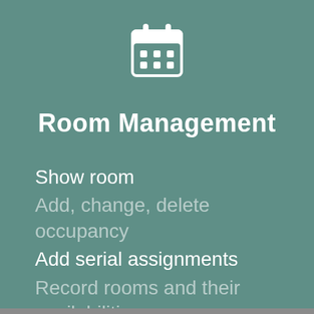[Figure (illustration): White calendar icon with grid dots on a teal/green background]
Room Management
Show room
Add, change, delete occupancy
Add serial assignments
Record rooms and their availabilities
Room occupancy list as PDF